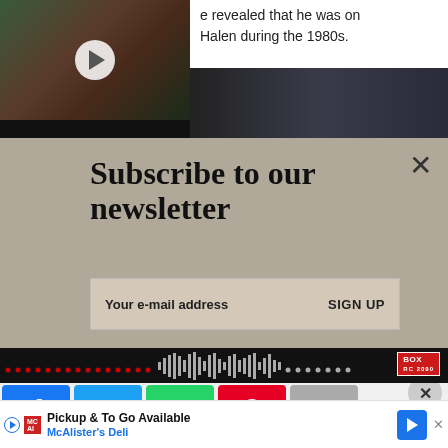[Figure (screenshot): Video thumbnail showing a person in a pink shirt with long hair, with a play button overlay, set against a green garden background]
revealed that he was on Halen during the 1980s.
w.
[Figure (screenshot): Newsletter subscription widget with textured stone background. Title: Subscribe to our newsletter. Email input field with placeholder 'Your e-mail address' and a SIGN UP button. Close X button in top right.]
[Figure (screenshot): Dark video player bar with waveform audio visualization and BOX logo in red]
[Figure (infographic): Social media share buttons: Facebook (blue), Twitter (blue), WhatsApp (green), Pinterest (red), Email (gray). Close X circle button on right.]
[Figure (screenshot): Advertisement for McAlister's Deli: Pickup & To Go Available. Blue navigation arrow icon on right.]